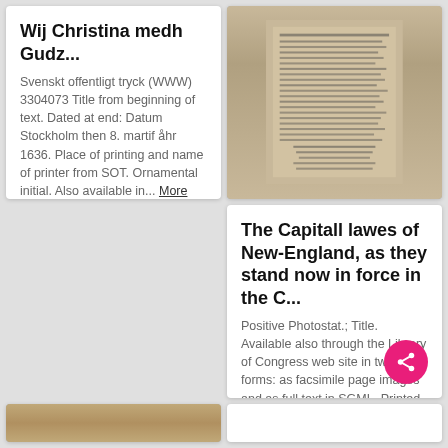Wij Christina medh Gudz...
Svenskt offentligt tryck (WWW) 3304073 Title from beginning of text. Dated at end: Datum Stockholm then 8. martif åhr 1636. Place of printing and name of printer from SOT. Ornamental initial. Also available in... More
[Figure (photo): Scanned historical document page showing columns of printed text in old typography, black and white, with aged paper appearance]
The Capitall lawes of New-England, as they stand now in force in the C...
Positive Photostat.; Title. Available also through the Library of Congress web site in two forms: as facsimile page images and as full text in SGML. Printed Ephemera Collection; Portfolio 33, Folder 2.
[Figure (photo): Partial view of a historical document thumbnail at the bottom of the page]